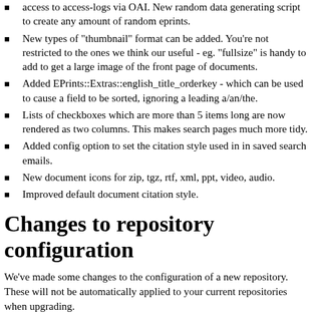access to access-logs via OAI. New random data generating script to create any amount of random eprints.
New types of "thumbnail" format can be added. You're not restricted to the ones we think our useful - eg. "fullsize" is handy to add to get a large image of the front page of documents.
Added EPrints::Extras::english_title_orderkey - which can be used to cause a field to be sorted, ignoring a leading a/an/the.
Lists of checkboxes which are more than 5 items long are now rendered as two columns. This makes search pages much more tidy.
Added config option to set the citation style used in in saved search emails.
New document icons for zip, tgz, rtf, xml, ppt, video, audio.
Improved default document citation style.
Changes to repository configuration
We've made some changes to the configuration of a new repository. These will not be automatically applied to your current repositories when upgrading.